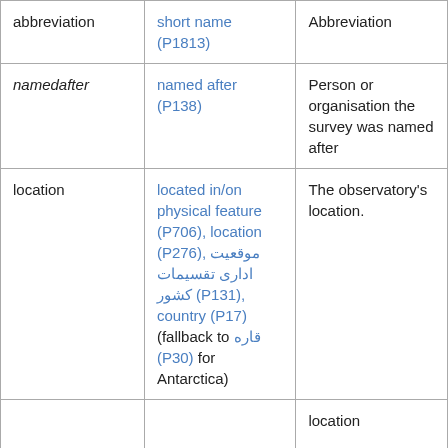| abbreviation | short name (P1813) | Abbreviation |
| namedafter | named after (P138) | Person or organisation the survey was named after |
| location | located in/on physical feature (P706), location (P276), موقعیت اداری تقسیمات کشور (P131), country (P17) (fallback to قاره (P30) for Antarctica) | The observatory's location. |
|  |  | location |